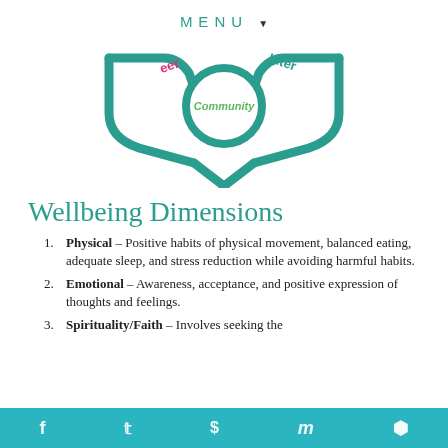MENU ▾
[Figure (infographic): Teal Y-shaped or wing-shaped diagram with a central circle labeled 'Community' in green, with partial text 'eer' in magenta on the left and 'Inter' in teal on the right, representing dimensions of wellbeing interconnected around a community center.]
Wellbeing Dimensions
Physical – Positive habits of physical movement, balanced eating, adequate sleep, and stress reduction while avoiding harmful habits.
Emotional – Awareness, acceptance, and positive expression of thoughts and feelings.
Spirituality/Faith – Involves seeking the
f  𝕥  p  m  ⬡